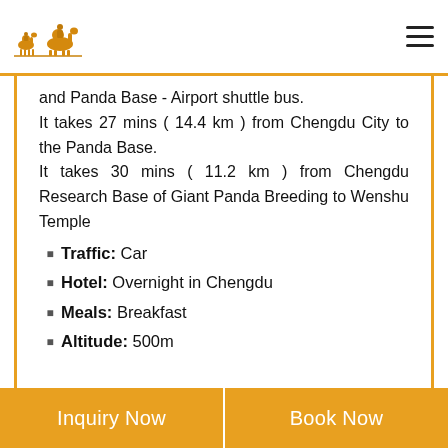[Figure (logo): Camel caravan logo in orange/gold color]
and Panda Base - Airport shuttle bus.
It takes 27 mins ( 14.4 km ) from Chengdu City to the Panda Base.
It takes 30 mins ( 11.2 km ) from Chengdu Research Base of Giant Panda Breeding to Wenshu Temple
Traffic: Car
Hotel: Overnight in Chengdu
Meals: Breakfast
Altitude: 500m
Inquiry Now    Book Now